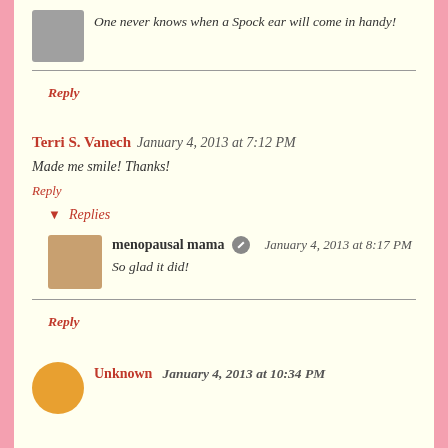One never knows when a Spock ear will come in handy!
Reply
Terri S. Vanech  January 4, 2013 at 7:12 PM
Made me smile! Thanks!
Reply
Replies
menopausal mama  January 4, 2013 at 8:17 PM
So glad it did!
Reply
Unknown  January 4, 2013 at 10:34 PM